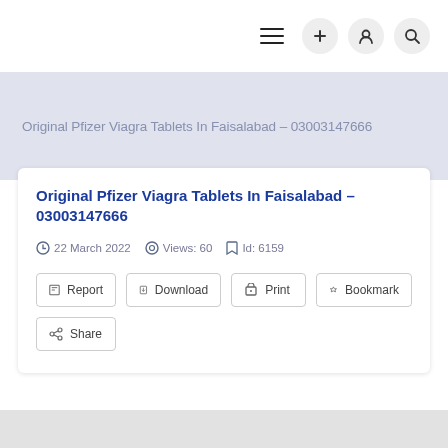Navigation bar with hamburger menu, plus, user, and search icons
Original Pfizer Viagra Tablets In Faisalabad – 03003147666
Original Pfizer Viagra Tablets In Faisalabad – 03003147666
22 March 2022  Views: 60  Id: 6159
Report  Download  Print  Bookmark  Share